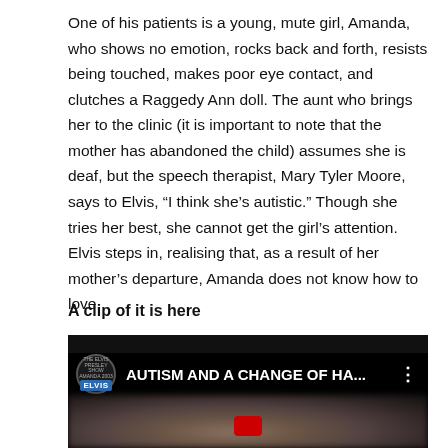One of his patients is a young, mute girl, Amanda, who shows no emotion, rocks back and forth, resists being touched, makes poor eye contact, and clutches a Raggedy Ann doll. The aunt who brings her to the clinic (it is important to note that the mother has abandoned the child) assumes she is deaf, but the speech therapist, Mary Tyler Moore, says to Elvis, “I think she’s autistic.” Though she tries her best, she cannot get the girl’s attention. Elvis steps in, realising that, as a result of her mother’s departure, Amanda does not know how to love.
A clip of it is here
[Figure (screenshot): YouTube video thumbnail showing 'AUTISM AND A CHANGE OF HA...' with a channel logo on the left featuring Elvis branding, on a dark background with a blurred face visible below.]